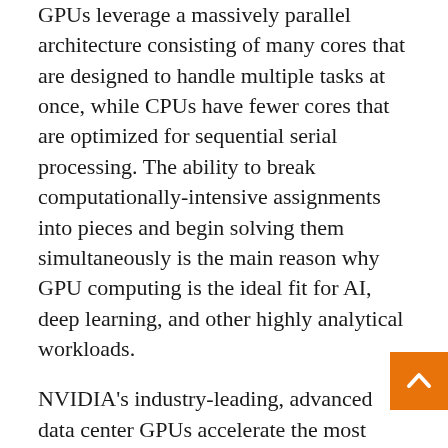GPUs leverage a massively parallel architecture consisting of many cores that are designed to handle multiple tasks at once, while CPUs have fewer cores that are optimized for sequential serial processing. The ability to break computationally-intensive assignments into pieces and begin solving them simultaneously is the main reason why GPU computing is the ideal fit for AI, deep learning, and other highly analytical workloads.
NVIDIA's industry-leading, advanced data center GPUs accelerate the most demanding HPC applications and power many of the world's fastest supercomputers. HPE's purpose-built deep learning platforms, advanced service capabilities, and solutions expertise help customers easily deploy and maximize the value of their deep learning systems. Together, this collaboration is delivering a portfolio of GPU-optimized solutions that enable data scientists, researchers, and engineers to